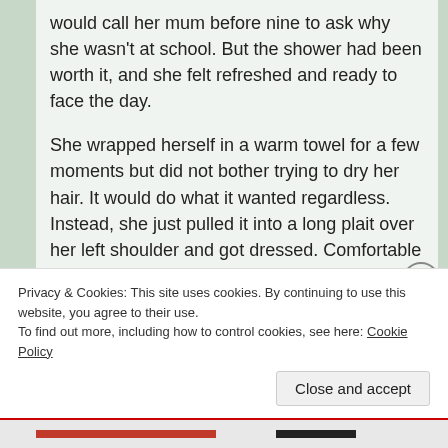would call her mum before nine to ask why she wasn't at school. But the shower had been worth it, and she felt refreshed and ready to face the day.
She wrapped herself in a warm towel for a few moments but did not bother trying to dry her hair. It would do what it wanted regardless. Instead, she just pulled it into a long plait over her left shoulder and got dressed. Comfortable jeans, a band t-shirt, and a hoodie were the first clothes she happened across, so she flung them on and started to get her things together.
Privacy & Cookies: This site uses cookies. By continuing to use this website, you agree to their use.
To find out more, including how to control cookies, see here: Cookie Policy